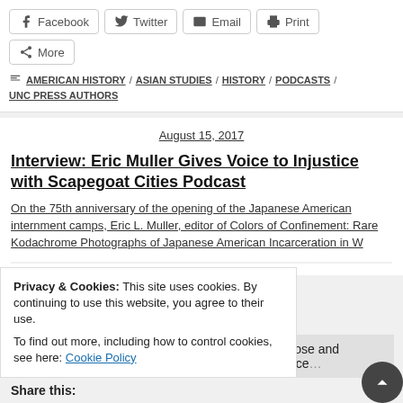Facebook
Twitter
Email
Print
More
AMERICAN HISTORY / ASIAN STUDIES / HISTORY / PODCASTS / UNC PRESS AUTHORS
August 15, 2017
Interview: Eric Muller Gives Voice to Injustice with Scapegoat Cities Podcast
On the 75th anniversary of the opening of the Japanese American internment camps, Eric L. Muller, editor of Colors of Confinement: Rare Kodachrome Photographs of Japanese American Incarceration in World War II, talks to UNC Press Publicity Director Gina Mahalek...
Privacy & Cookies: This site uses cookies. By continuing to use this website, you agree to their use. To find out more, including how to control cookies, see here: Cookie Policy
Close and accept
Share this: